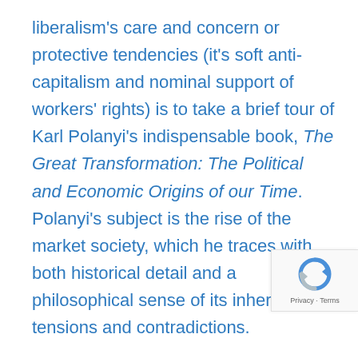liberalism's care and concern or protective tendencies (it's soft anti-capitalism and nominal support of workers' rights) is to take a brief tour of Karl Polanyi's indispensable book, The Great Transformation: The Political and Economic Origins of our Time. Polanyi's subject is the rise of the market society, which he traces with both historical detail and a philosophical sense of its inherent tensions and contradictions.
Of course, the rise of the market economy is hardly a story about the development of protection, nurture, or empathy. Even before it transformed the entire surface of the globe in its pursuit of gain, early capitalist production destroyed more simple and necessary economies of basic need fulfillment, physical and